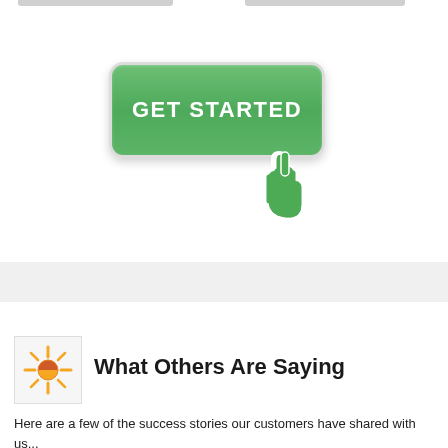[Figure (screenshot): Two gray horizontal bars at the top of the page, partial UI elements]
[Figure (screenshot): Green 'GET STARTED' button with white text and a hand/pointer cursor icon overlaid on the bottom-right]
[Figure (other): Light gray horizontal band/stripe across the page]
[Figure (logo): Sun-like logo icon with orange and yellow rays in a light gray box]
What Others Are Saying
Here are a few of the success stories our customers have shared with us...